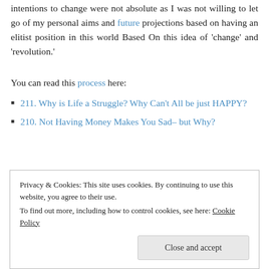intentions to change were not absolute as I was not willing to let go of my personal aims and future projections based on having an elitist position in this world Based On this idea of 'change' and 'revolution.'
You can read this process here:
211. Why is Life a Struggle? Why Can't All be just HAPPY?
210. Not Having Money Makes You Sad– but Why?
Privacy & Cookies: This site uses cookies. By continuing to use this website, you agree to their use.
To find out more, including how to control cookies, see here: Cookie Policy
Close and accept